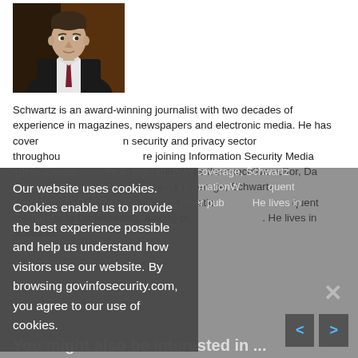[Figure (photo): Headshot photo of a man in a suit and tie against a dark background]
Schwartz is an award-winning journalist with two decades of experience in magazines, newspapers and electronic media. He has covered the information security and privacy sector throughout his career. Before joining Information Security Media Group, where he now serves as the executive editor, DataBreachToday, for European news coverage, Schwartz was previously a security beat reporter for InformationWeek and a frequent contributor to DarkReading, among other publications. He lives in Scotland.
[Figure (other): Cookie consent overlay popup with text: Our website uses cookies. Cookies enable us to provide the best experience possible and help us understand how visitors use our website. By browsing govinfosecurity.com, you agree to our use of cookies.]
You might also be interested in ...